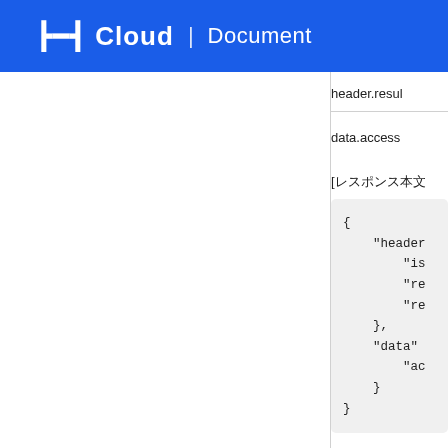NHN Cloud | Document
header.resul
data.access
[レスポンス本文
[Figure (screenshot): JSON code block snippet showing partial response body with header and data sections]